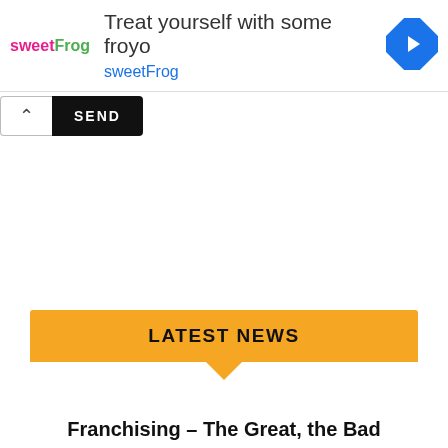[Figure (other): Advertisement banner for sweetFrog frozen yogurt. Logo on left, headline 'Treat yourself with some froyo', subtext 'sweetFrog', navigation arrow icon on right.]
[Figure (other): UI controls showing a play/forward button and an X close button on the left side below the ad banner.]
[Figure (other): Chat/message UI element with a chevron-up caret box and a black SEND button.]
LATEST NEWS
Franchising – The Great, the Bad